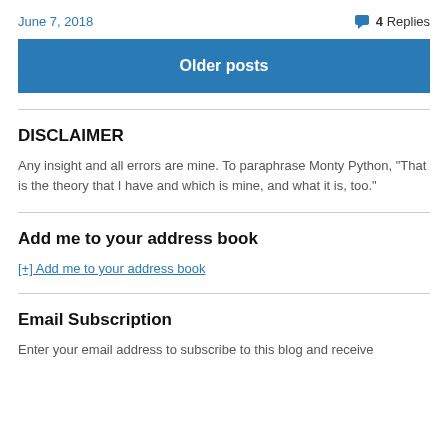June 7, 2018 · 4 Replies
Older posts
DISCLAIMER
Any insight and all errors are mine. To paraphrase Monty Python, "That is the theory that I have and which is mine, and what it is, too."
Add me to your address book
[+] Add me to your address book
Email Subscription
Enter your email address to subscribe to this blog and receive